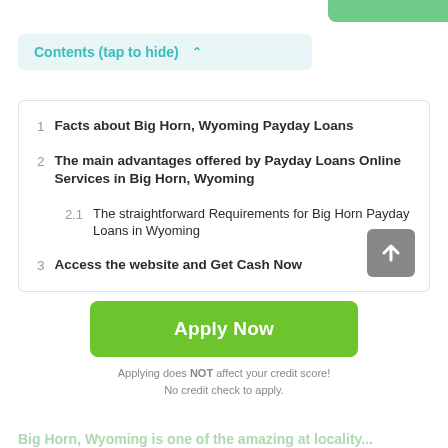Contents (tap to hide) ^
1  Facts about Big Horn, Wyoming Payday Loans
2  The main advantages offered by Payday Loans Online Services in Big Horn, Wyoming
2.1  The straightforward Requirements for Big Horn Payday Loans in Wyoming
3  Access the website and Get Cash Now
Apply Now
Applying does NOT affect your credit score!
No credit check to apply.
Big Horn, Wyoming is one of the amazing at locality...